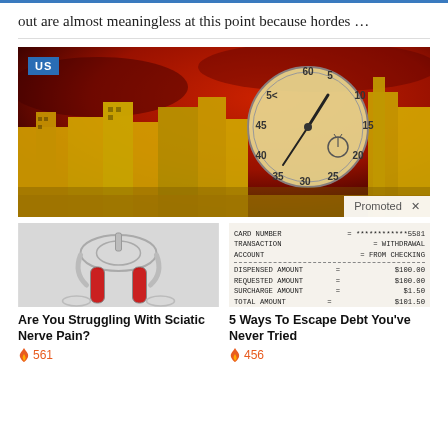out are almost meaningless at this point because hordes …
[Figure (photo): Stylized dramatic image of city skyline with red sky and large clock/stopwatch overlay, with a 'US' badge in top-left corner and a 'Promoted X' bar at bottom-right]
[Figure (photo): Medical illustration of human pelvis and legs with red highlighted sciatic nerve muscles]
[Figure (other): ATM bank receipt showing card number ending 5581, WITHDRAWAL FROM CHECKING, dispensed amount $100.00, requested amount $100.00, surcharge amount $1.50, total amount $101.50, ledger balance $423,923.00]
Are You Struggling With Sciatic Nerve Pain?
5 Ways To Escape Debt You've Never Tried
🔥 561
🔥 456